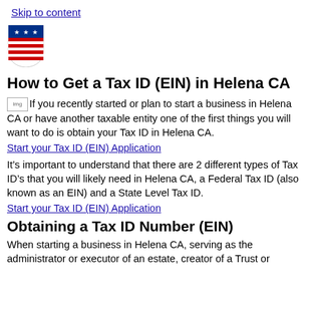Skip to content
[Figure (logo): Government shield logo with stars and stripes, red white and blue]
How to Get a Tax ID (EIN) in Helena CA
California state flag If you recently started or plan to start a business in Helena CA or have another taxable entity one of the first things you will want to do is obtain your Tax ID in Helena CA.
Start your Tax ID (EIN) Application
It’s important to understand that there are 2 different types of Tax ID’s that you will likely need in Helena CA, a Federal Tax ID (also known as an EIN) and a State Level Tax ID.
Start your Tax ID (EIN) Application
Obtaining a Tax ID Number (EIN)
When starting a business in Helena CA, serving as the administrator or executor of an estate, creator of a Trust or